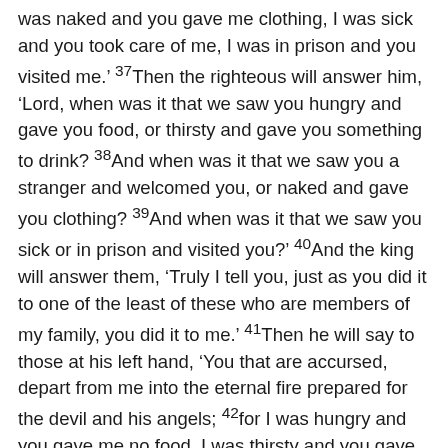was naked and you gave me clothing, I was sick and you took care of me, I was in prison and you visited me.' 37Then the righteous will answer him, 'Lord, when was it that we saw you hungry and gave you food, or thirsty and gave you something to drink? 38And when was it that we saw you a stranger and welcomed you, or naked and gave you clothing? 39And when was it that we saw you sick or in prison and visited you?' 40And the king will answer them, 'Truly I tell you, just as you did it to one of the least of these who are members of my family, you did it to me.' 41Then he will say to those at his left hand, 'You that are accursed, depart from me into the eternal fire prepared for the devil and his angels; 42for I was hungry and you gave me no food, I was thirsty and you gave me nothing to drink, 43I was a stranger and you did not welcome me, naked and you did not give me clothing, sick and in prison and you did not visit me.' 44Then they also will answer, 'Lord, when was it that we saw you hungry or thirsty or a stranger or naked or sick or in prison, and did not take care of you?' 45Then he will answer them, 'Truly I tell you, just as you did not do it to one of the least of these, you did